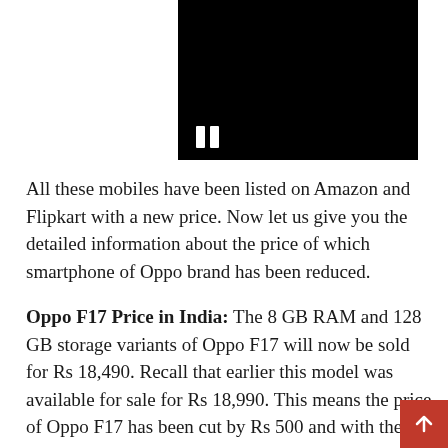[Figure (other): Black video player thumbnail with white pause icon (two vertical bars) in the lower-left corner]
All these mobiles have been listed on Amazon and Flipkart with a new price. Now let us give you the detailed information about the price of which smartphone of Oppo brand has been reduced.
Oppo F17 Price in India: The 8 GB RAM and 128 GB storage variants of Oppo F17 will now be sold for Rs 18,490. Recall that earlier this model was available for sale for Rs 18,990. This means the price of Oppo F17 has been cut by Rs 500 and with the new price, the Oppo Mobile phone is available on the e-commerce site Amazon and Flipkart.